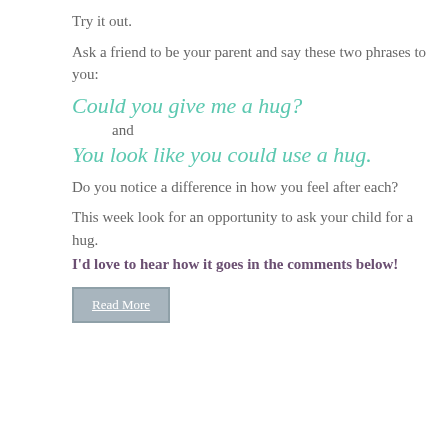Try it out.
Ask a friend to be your parent and say these two phrases to you:
Could you give me a hug?
and
You look like you could use a hug.
Do you notice a difference in how you feel after each?
This week look for an opportunity to ask your child for a hug.
I'd love to hear how it goes in the comments below!
Read More